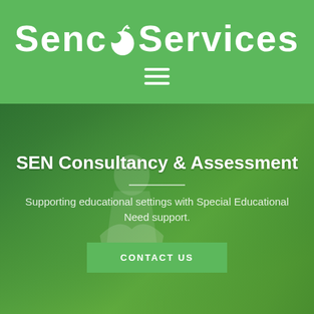Senco Services
[Figure (screenshot): Website hero banner with green tinted background image of a child reading, showing SEN Consultancy & Assessment heading, subtitle text, and CONTACT US button]
SEN Consultancy & Assessment
Supporting educational settings with Special Educational Need support.
CONTACT US